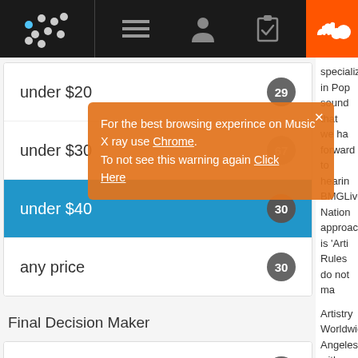Music X-ray navigation bar with logo, menu, profile, clipboard, and SoundCloud icons
under $20 — 29
under $30 — (badge obscured by tooltip)
under $40 — 30 (selected)
any price — 30
Final Decision Maker
Yes — 27
No — 3
Deal Structure
Negotiable or N/A — 16
Exclusive — 11
specialize in Pop [sound that we ha forward to hearin BMGLive Nation approach is 'Arti Rules do not ma
Artistry Worldwid Angeles with a h The mission for developing new t - Artistry Worldw
Deal Type: Man
Decision Make
Deal Structure
Compensation
Song Quality: R
[Figure (screenshot): Browser tooltip notification: 'For the best browsing experince on Music X ray use Chrome. To not see this warning again Click Here' with close button, shown over the filter list]